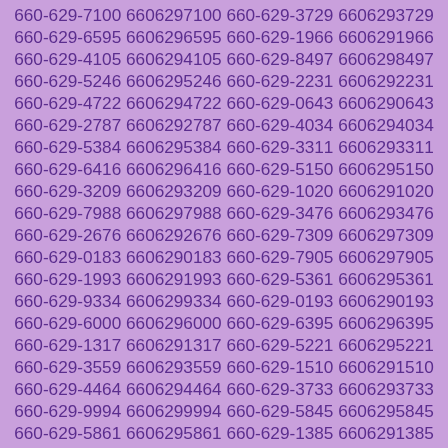660-629-7100 6606297100 660-629-3729 6606293729 660-629-6595 6606296595 660-629-1966 6606291966 660-629-4105 6606294105 660-629-8497 6606298497 660-629-5246 6606295246 660-629-2231 6606292231 660-629-4722 6606294722 660-629-0643 6606290643 660-629-2787 6606292787 660-629-4034 6606294034 660-629-5384 6606295384 660-629-3311 6606293311 660-629-6416 6606296416 660-629-5150 6606295150 660-629-3209 6606293209 660-629-1020 6606291020 660-629-7988 6606297988 660-629-3476 6606293476 660-629-2676 6606292676 660-629-7309 6606297309 660-629-0183 6606290183 660-629-7905 6606297905 660-629-1993 6606291993 660-629-5361 6606295361 660-629-9334 6606299334 660-629-0193 6606290193 660-629-6000 6606296000 660-629-6395 6606296395 660-629-1317 6606291317 660-629-5221 6606295221 660-629-3559 6606293559 660-629-1510 6606291510 660-629-4464 6606294464 660-629-3733 6606293733 660-629-9994 6606299994 660-629-5845 6606295845 660-629-5861 6606295861 660-629-1385 6606291385